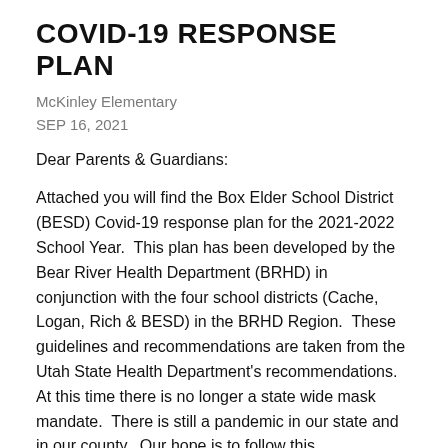COVID-19 RESPONSE PLAN
McKinley Elementary
SEP 16, 2021
Dear Parents & Guardians:
Attached you will find the Box Elder School District (BESD) Covid-19 response plan for the 2021-2022 School Year.  This plan has been developed by the Bear River Health Department (BRHD) in conjunction with the four school districts (Cache, Logan, Rich & BESD) in the BRHD Region.  These guidelines and recommendations are taken from the Utah State Health Department's recommendations.  At this time there is no longer a state wide mask mandate.  There is still a pandemic in our state and in our county.  Our hope is to follow this